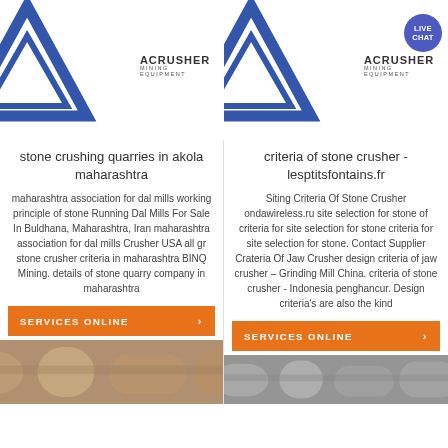[Figure (photo): Industrial mining equipment - large cylindrical mill machinery in a factory setting with ACRUSHER MINING EQUIPMENT logo]
[Figure (photo): Outdoor quarry/crushing site with a man standing in front, mountainous background, ACRUSHER MINING EQUIPMENT logo, and LIVE CHAT bubble]
stone crushing quarries in akola maharashtra
criteria of stone crusher - lesptitsfontains.fr
maharashtra association for dal mills working principle of stone Running Dal Mills For Sale In Buldhana, Maharashtra, Iran maharashtra association for dal mills Crusher USA all gr stone crusher criteria in maharashtra BINQ Mining. details of stone quarry company in maharashtra
Siting Criteria Of Stone Crusher ondawireless.ru site selection for stone of criteria for site selection for stone criteria for site selection for stone. Contact Supplier Crateria Of Jaw Crusher design criteria of jaw crusher – Grinding Mill China. criteria of stone crusher - Indonesia penghancur. Design criteria's are also the kind
SERVICES ONLINE  >
SERVICES ONLINE  >
[Figure (photo): Bottom left partial image - industrial equipment piping/machinery]
[Figure (photo): Bottom right partial image - industrial equipment piping/machinery]